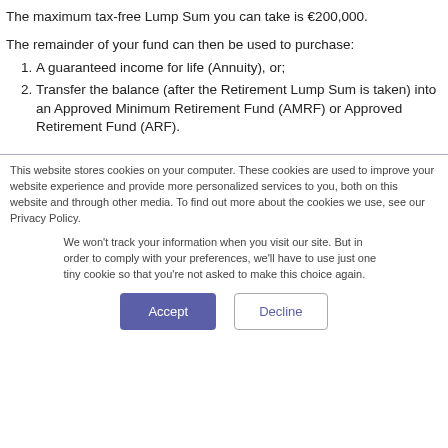The maximum tax-free Lump Sum you can take is €200,000.
The remainder of your fund can then be used to purchase:
A guaranteed income for life (Annuity), or;
Transfer the balance (after the Retirement Lump Sum is taken) into an Approved Minimum Retirement Fund (AMRF) or Approved Retirement Fund (ARF).
This website stores cookies on your computer. These cookies are used to improve your website experience and provide more personalized services to you, both on this website and through other media. To find out more about the cookies we use, see our Privacy Policy.
We won't track your information when you visit our site. But in order to comply with your preferences, we'll have to use just one tiny cookie so that you're not asked to make this choice again.